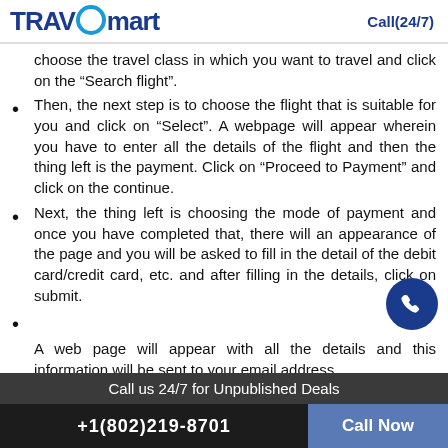TRAVOmart  Call(24/7)
choose the travel class in which you want to travel and click on the “Search flight”.
Then, the next step is to choose the flight that is suitable for you and click on “Select”. A webpage will appear wherein you have to enter all the details of the flight and then the thing left is the payment. Click on “Proceed to Payment” and click on the continue.
Next, the thing left is choosing the mode of payment and once you have completed that, there will an appearance of the page and you will be asked to fill in the detail of the debit card/credit card, etc. and after filling in the details, click on submit.
A web page will appear with all the details and this information will be sent to your email address.
Call us 24/7 for Unpublished Deals
+1(802)219-8701  Call Now